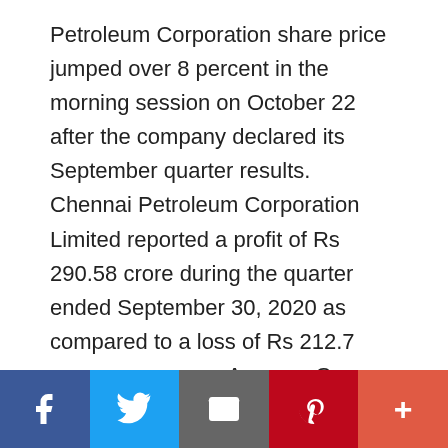Petroleum Corporation share price jumped over 8 percent in the morning session on October 22 after the company declared its September quarter results. Chennai Petroleum Corporation Limited reported a profit of Rs 290.58 crore during the quarter ended September 30, 2020 as compared to a loss of Rs 212.7 crore, a year ago. Average Gross Refining Margin (GRM) during April to September was USD 9.70 per bbl as compared to USD 2.03 per bbl. GRM is higher mainly due to favourable increase in prices of crude and products. Revenue of the firm was down to Rs 9,732.90 crore from Rs 12,191.97 crore. It said that demand for fuel products was lower during the current half year due
Social share bar: Facebook, Twitter, Email, Pinterest, More